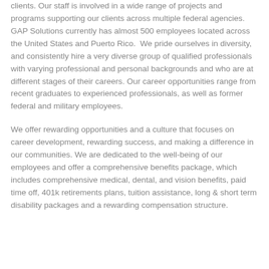clients. Our staff is involved in a wide range of projects and programs supporting our clients across multiple federal agencies. GAP Solutions currently has almost 500 employees located across the United States and Puerto Rico. We pride ourselves in diversity, and consistently hire a very diverse group of qualified professionals with varying professional and personal backgrounds and who are at different stages of their careers. Our career opportunities range from recent graduates to experienced professionals, as well as former federal and military employees.
We offer rewarding opportunities and a culture that focuses on career development, rewarding success, and making a difference in our communities. We are dedicated to the well-being of our employees and offer a comprehensive benefits package, which includes comprehensive medical, dental, and vision benefits, paid time off, 401k retirements plans, tuition assistance, long & short term disability packages and a rewarding compensation structure.